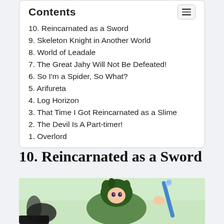Contents
10. Reincarnated as a Sword
9. Skeleton Knight in Another World
8. World of Leadale
7. The Great Jahy Will Not Be Defeated!
6. So I'm a Spider, So What?
5. Arifureta
4. Log Horizon
3. That Time I Got Reincarnated as a Slime
2. The Devil Is A Part-timer!
1. Overlord
10. Reincarnated as a Sword
[Figure (illustration): Anime character with dark green hair holding a blue decorated sword or staff, set against a light green background]